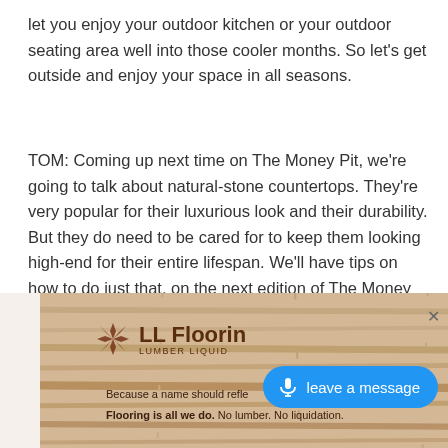let you enjoy your outdoor kitchen or your outdoor seating area well into those cooler months. So let's get outside and enjoy your space in all seasons.
TOM: Coming up next time on The Money Pit, we're going to talk about natural-stone countertops. They're very popular for their luxurious look and their durability. But they do need to be cared for to keep them looking high-end for their entire lifespan. We'll have tips on how to do just that, on the next edition of The Money Pit.
[Figure (other): LL Flooring (Lumber Liquidators) advertisement banner at bottom of page with wood flooring background, logo, tagline 'Because a name should refle...' and 'Flooring is all we do. No lumber. No liquidation.' A blue 'leave a message' voice button overlays the right side.]